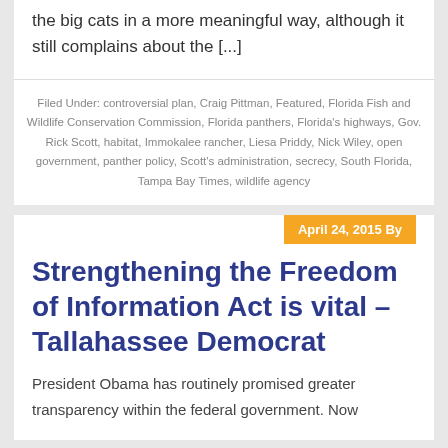the big cats in a more meaningful way, although it still complains about the [...]
Filed Under: controversial plan, Craig Pittman, Featured, Florida Fish and Wildlife Conservation Commission, Florida panthers, Florida's highways, Gov. Rick Scott, habitat, Immokalee rancher, Liesa Priddy, Nick Wiley, open government, panther policy, Scott's administration, secrecy, South Florida, Tampa Bay Times, wildlife agency
April 24, 2015 By
Strengthening the Freedom of Information Act is vital – Tallahassee Democrat
President Obama has routinely promised greater transparency within the federal government. Now